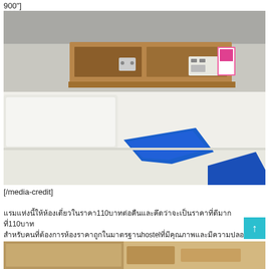900"]
[Figure (photo): Hotel/hostel room interior with a bed covered in white sheets, a blue folded towel/cloth on the bed, and a wooden wall-mounted shelf/headboard unit with outlets and a colorful item on the right side.]
[/media-credit]
Thai text paragraph mentioning 110 and hostel
[Figure (photo): Partial view of a wooden furniture piece, bottom of page]